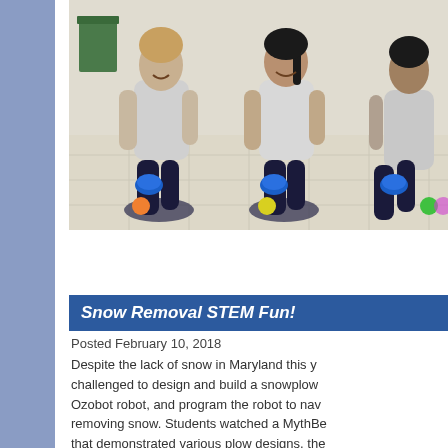[Figure (photo): Three female students kneeling on a classroom floor, each pushing a small blue Ozobot robot. Colorful balls (orange, yellow, green) are visible on the floor in front of them. A green trash can is visible in the background.]
Snow Removal STEM Fun!
Posted February 10, 2018
Despite the lack of snow in Maryland this y... challenged to design and build a snowplow ... Ozobot robot, and program the robot to nav... removing snow. Students watched a MythBe... that demonstrated various plow designs, the... build their own plow. Once their plow was b... using Ozobot programming color codes for...